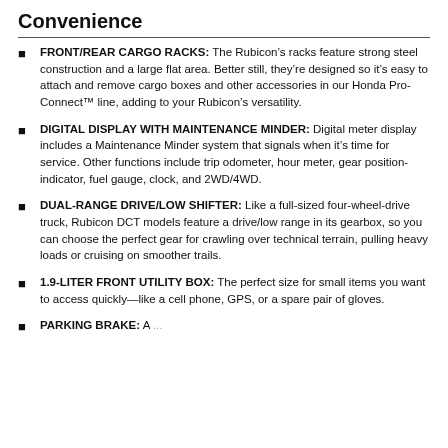Convenience
FRONT/REAR CARGO RACKS: The Rubicon’s racks feature strong steel construction and a large flat area. Better still, they’re designed so it’s easy to attach and remove cargo boxes and other accessories in our Honda Pro-Connect™ line, adding to your Rubicon’s versatility.
DIGITAL DISPLAY WITH MAINTENANCE MINDER: Digital meter display includes a Maintenance Minder system that signals when it’s time for service. Other functions include trip odometer, hour meter, gear position-indicator, fuel gauge, clock, and 2WD/4WD.
DUAL-RANGE DRIVE/LOW SHIFTER: Like a full-sized four-wheel-drive truck, Rubicon DCT models feature a drive/low range in its gearbox, so you can choose the perfect gear for crawling over technical terrain, pulling heavy loads or cruising on smoother trails.
1.9-LITER FRONT UTILITY BOX: The perfect size for small items you want to access quickly—like a cell phone, GPS, or a spare pair of gloves.
PARKING BRAKE: A ...